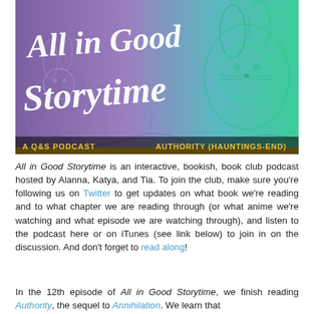[Figure (illustration): Podcast cover art for 'All in Good Storytime' — a Q&S podcast. Features stylized illustrated rabbits and creatures in purple-to-green gradient color wash. Large hand-lettered white text reads 'All in Good Storytime'. Bottom left reads 'A Q&S PODCAST' and bottom right reads 'AUTHORITY (HAUNTINGS-END)' in yellow bold text.]
All in Good Storytime is an interactive, bookish, book club podcast hosted by Alanna, Katya, and Tia. To join the club, make sure you're following us on Twitter to get updates on what book we're reading and to what chapter we are reading through (or what anime we're watching and what episode we are watching through), and listen to the podcast here or on iTunes (see link below) to join in on the discussion. And don't forget to read along!
In the 12th episode of All in Good Storytime, we finish reading Authority, the sequel to Annihilation. We learn that